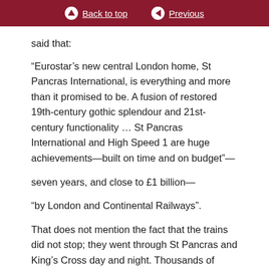Back to top | Previous
said that:
“Eurostar’s new central London home, St Pancras International, is everything and more than it promised to be. A fusion of restored 19th-century gothic splendour and 21st-century functionality … St Pancras International and High Speed 1 are huge achievements—built on time and on budget”—
seven years, and close to £1 billion—
“by London and Continental Railways”.
That does not mention the fact that the trains did not stop; they went through St Pancras and King’s Cross day and night. Thousands of people—far more than ever come into the Palace of Westminster—